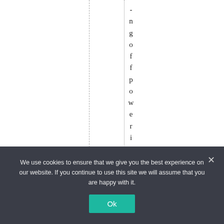[Figure (other): White page background with two vertical dashed/dotted lines and vertically-stacked characters spelling '-ngoffpowerisanal-' running top to bottom near the center-right of the page.]
We use cookies to ensure that we give you the best experience on our website. If you continue to use this site we will assume that you are happy with it.
Ok